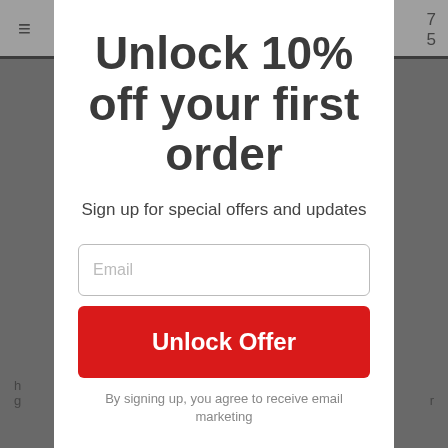Unlock 10% off your first order
Sign up for special offers and updates
By signing up, you agree to receive email marketing